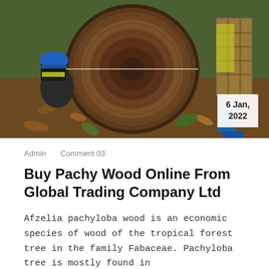[Figure (photo): Two workers wearing hard hats and safety vests measuring a large felled tree trunk cross-section with a measuring tape in a tropical forest setting. Date badge reads '6 Jan, 2022'.]
Admin    Comment 03
Buy Pachy Wood Online From Global Trading Company Ltd
Afzelia pachyloba wood is an economic species of wood of the tropical forest tree in the family Fabaceae. Pachyloba tree is mostly found in